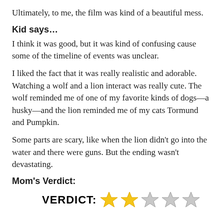Ultimately, to me, the film was kind of a beautiful mess.
Kid says…
I think it was good, but it was kind of confusing cause some of the timeline of events was unclear.
I liked the fact that it was really realistic and adorable. Watching a wolf and a lion interact was really cute. The wolf reminded me of one of my favorite kinds of dogs—a husky—and the lion reminded me of my cats Tormund and Pumpkin.
Some parts are scary, like when the lion didn't go into the water and there were guns. But the ending wasn't devastating.
Mom's Verdict:
[Figure (infographic): Verdict label with 2 filled gold stars and 3 empty grey stars out of 5]